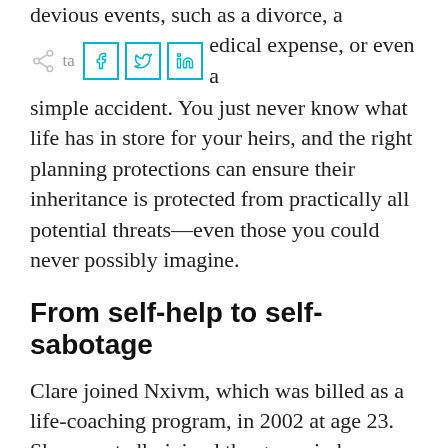devious events, such as a divorce, a catastrophic medical expense, or even a simple accident. You just never know what life has in store for your heirs, and the right planning protections can ensure their inheritance is protected from practically all potential threats—even those you could never possibly imagine.
From self-help to self-sabotage
Clare joined Nxivm, which was billed as a life-coaching program, in 2002 at age 23. She reportedly joined the group in hopes that its mentoring might help her fulfill her dream of making the U.S. Olympic equestrian team. In